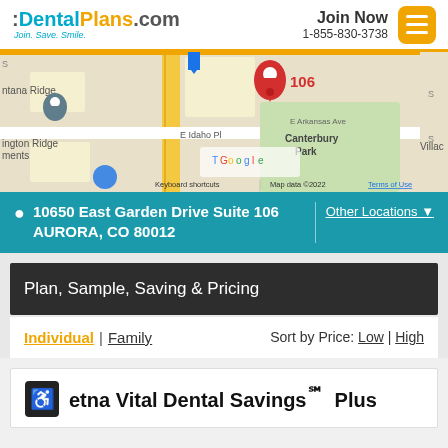DentalPlans.com — Join. Save. Smile. | Join Now 1-855-830-3738
[Figure (map): Google Maps view showing location at 10650 East Garden Drive Suite 106, Aurora CO. Shows E Idaho Pl, E Arkansas Ave, Canterbury Park, Montana Ridge area. Red pin marker labeled 106 at location.]
10650 East Garden Drive Suite 106 AURORA, CO 80012 | Other Locations
Plan, Sample, Saving & Pricing
Individual | Family   Sort by Price: Low | High
Aetna Vital Dental Savings℠ Plus